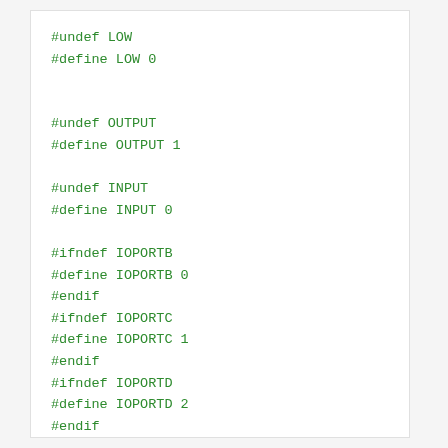#undef LOW
#define LOW 0


#undef OUTPUT
#define OUTPUT 1

#undef INPUT
#define INPUT 0

#ifndef IOPORTB
#define IOPORTB 0
#endif
#ifndef IOPORTC
#define IOPORTC 1
#endif
#ifndef IOPORTD
#define IOPORTD 2
#endif

#define IOPB0  0